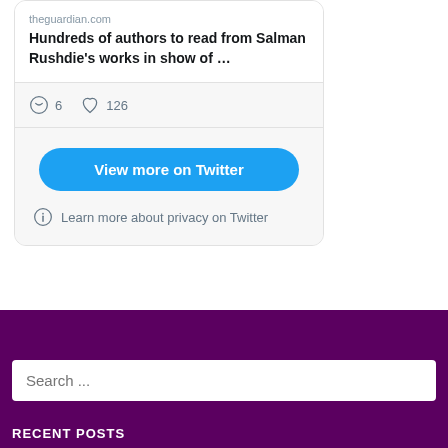[Figure (screenshot): Twitter/X embedded tweet card showing a link preview to theguardian.com article 'Hundreds of authors to read from Salman Rushdie's works in show of ...' with 6 comments and 126 likes, and a 'View more on Twitter' button and 'Learn more about privacy on Twitter' link]
Search ...
RECENT POSTS